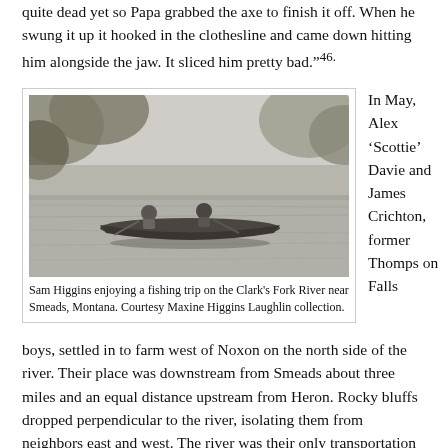quite dead yet so Papa grabbed the axe to finish it off. When he swung it up it hooked in the clothesline and came down hitting him alongside the jaw. It sliced him pretty bad."46.
[Figure (photo): Black and white photograph of Sam Higgins enjoying a fishing trip on the Clark's Fork River near Smeads, Montana. Two people in a canoe on a river surrounded by trees.]
Sam Higgins enjoying a fishing trip on the Clark's Fork River near Smeads, Montana. Courtesy Maxine Higgins Laughlin collection.
In May, Alex 'Scottie' Davie and James Crichton, former Thompson Falls boys, settled in to farm west of Noxon on the north side of the river. Their place was downstream from Smeads about three miles and an equal distance upstream from Heron. Rocky bluffs dropped perpendicular to the river, isolating them from neighbors east and west. The river was their only transportation route. By crossing to the south side, they could go either to Heron or Smeads.